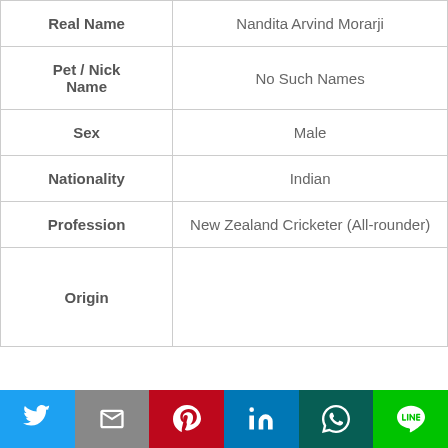|  |  |
| --- | --- |
| Real Name | Nandita Arvind Morarji |
| Pet / Nick Name | No Such Names |
| Sex | Male |
| Nationality | Indian |
| Profession | New Zealand Cricketer (All-rounder) |
| Origin |  |